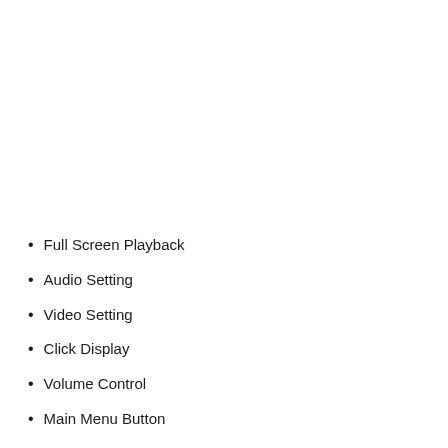Full Screen Playback
Audio Setting
Video Setting
Click Display
Volume Control
Main Menu Button